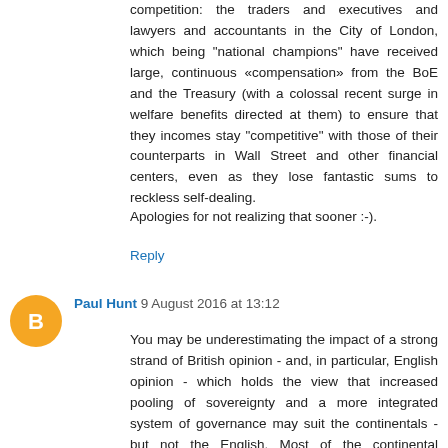competition: the traders and executives and lawyers and accountants in the City of London, which being "national champions" have received large, continuous «compensation» from the BoE and the Treasury (with a colossal recent surge in welfare benefits directed at them) to ensure that they incomes stay "competitive" with those of their counterparts in Wall Street and other financial centers, even as they lose fantastic sums to reckless self-dealing.
Apologies for not realizing that sooner :-).
Reply
Paul Hunt 9 August 2016 at 13:12
You may be underestimating the impact of a strong strand of British opinion - and, in particular, English opinion - which holds the view that increased pooling of sovereignty and a more integrated system of governance may suit the continentals - but not the English. Most of the continental European countries failed disastrously to maintain multi-party representative parliamentary democracies during the